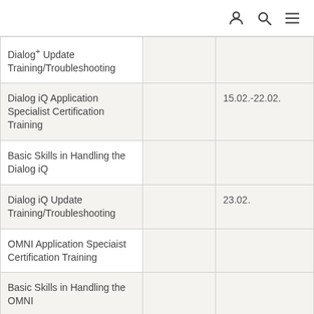icons: user, search, menu
| Course |  | Date |
| --- | --- | --- |
| Dialog+ Update Training/Troubleshooting |  |  |
| Dialog iQ Application Specialist Certification Training |  | 15.02.-22.02. |
| Basic Skills in Handling the Dialog iQ |  |  |
| Dialog iQ Update Training/Troubleshooting |  | 23.02. |
| OMNI Application Speciaist Certification Training |  |  |
| Basic Skills in Handling the OMNI |  |  |